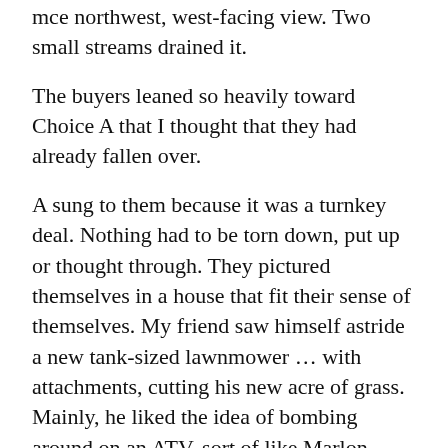mce northwest, west-facing view. Two small streams drained it.
The buyers leaned so heavily toward Choice A that I thought that they had already fallen over.
A sung to them because it was a turnkey deal. Nothing had to be torn down, put up or thought through. They pictured themselves in a house that fit their sense of themselves. My friend saw himself astride a new tank-sized lawnmower ... with attachments, cutting his new acre of grass. Mainly, he liked the idea of bombing around on an ATV, sort of like Marlon Brando with two extra wheels. He did not share this vision with his wife.
B was their second choice, because it could be occupied immediately even though both sniffed snootily at its Ozzie-and-Harriet vibes. They had